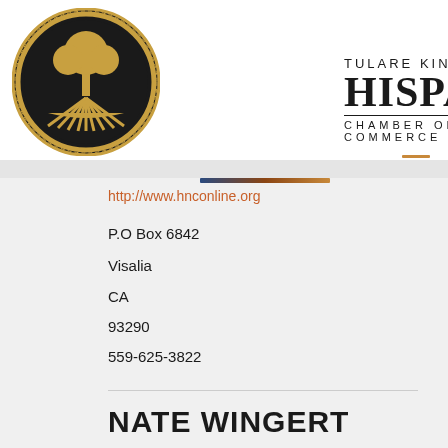[Figure (logo): Tulare Kings Hispanic Chamber of Commerce circular gold and black seal/logo with tree and sunburst design]
TULARE KINGS HISPANIC CHAMBER OF COMMERCE
http://www.hnconline.org
P.O Box 6842
Visalia
CA
93290
559-625-3822
NATE WINGERT